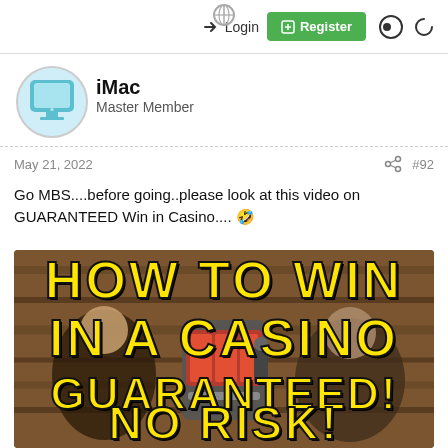Login  Register
[Figure (photo): iMac avatar icon - teal colored computer]
iMac
Master Member
May 21, 2022
#92
Go MBS....before going..please look at this video on GUARANTEED Win in Casino.... 🤣
[Figure (screenshot): Video thumbnail showing two men sitting in front of a slot machine with yellow bold text reading HOW TO WIN IN A CASINO GUARANTEED! NO RISK! on a wooden background]